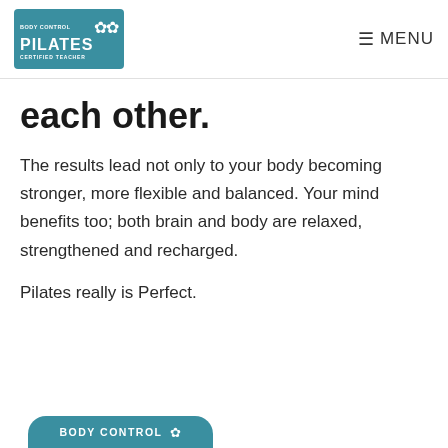Body Control Pilates Certified Teacher | MENU
each other.
The results lead not only to your body becoming stronger, more flexible and balanced. Your mind benefits too; both brain and body are relaxed, strengthened and recharged.
Pilates really is Perfect.
[Figure (logo): Body Control Pilates logo pill at bottom of page]